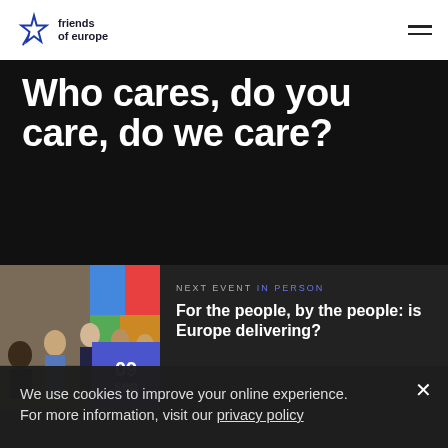[Figure (logo): Friends of Europe logo with star icon and text 'friends of europe']
Who cares, do you care, do we care?
NEXT EVENT IN PERSON
For the people, by the people: is Europe delivering?
09 sep 2022
We use cookies to improve your online experience.
For more information, visit our privacy policy